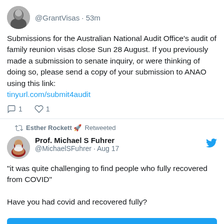[Figure (photo): Circular avatar photo of a woman with dark hair, used as Twitter profile picture for @GrantVisas]
@GrantVisas · 53m
Submissions for the Australian National Audit Office's audit of family reunion visas close Sun 28 August. If you previously made a submission to senate inquiry, or were thinking of doing so, please send a copy of your submission to ANAO using this link: tinyurl.com/submit4audit
↩ 1  ♡ 1
Esther Rockett 🚀 Retweeted
[Figure (photo): Circular avatar photo of an older man with white beard wearing a red shirt, Twitter profile picture for Prof. Michael S Fuhrer]
Prof. Michael S Fuhrer
@MichaelSFuhrer · Aug 17
"it was quite challenging to find people who fully recovered from COVID"

Have you had covid and recovered fully?

(source of quote next tweet)